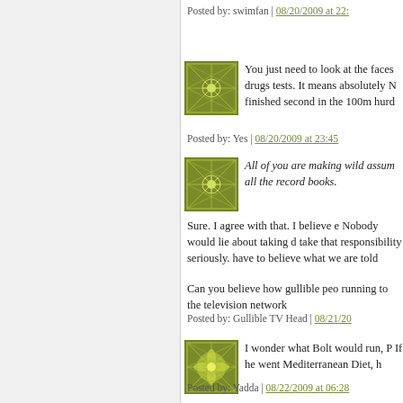Posted by: swimfan | 08/20/2009 at 22:
[Figure (illustration): Green geometric flower/star pattern avatar icon]
You just need to look at the faces drugs tests. It means absolutely N finished second in the 100m hurd
Posted by: Yes | 08/20/2009 at 23:45
[Figure (illustration): Green geometric flower/star pattern avatar icon]
All of you are making wild assum all the record books.
Sure. I agree with that. I believe e Nobody would lie about taking d take that responsibility seriously. have to believe what we are told
Can you believe how gullible peo running to the television network
Posted by: Gullible TV Head | 08/21/20
[Figure (illustration): Green geometric flower/star pattern avatar icon]
I wonder what Bolt would run, P If he went Mediterranean Diet, h
Posted by: Yadda | 08/22/2009 at 06:28